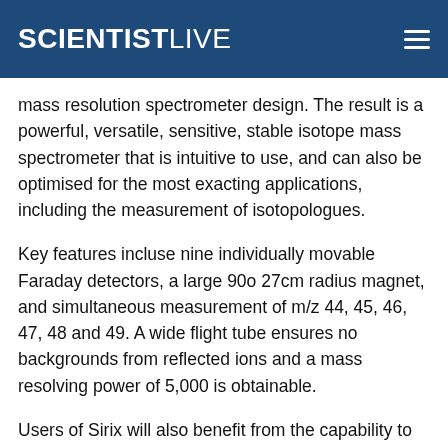SCIENTISTLIVE
mass resolution spectrometer design. The result is a powerful, versatile, sensitive, stable isotope mass spectrometer that is intuitive to use, and can also be optimised for the most exacting applications, including the measurement of isotopologues.
Key features incluse nine individually movable Faraday detectors, a large 90o 27cm radius magnet, and simultaneous measurement of m/z 44, 45, 46, 47, 48 and 49. A wide flight tube ensures no backgrounds from reflected ions and a mass resolving power of 5,000 is obtainable.
Users of Sirix will also benefit from the capability to